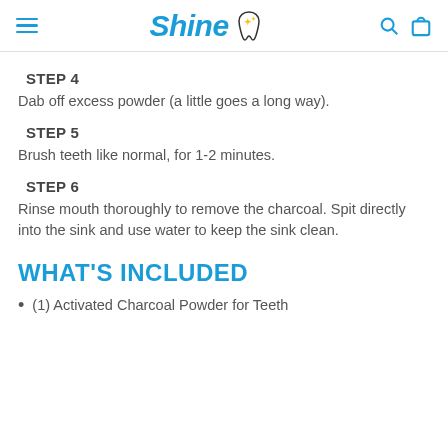Shine
STEP 4
Dab off excess powder (a little goes a long way).
STEP 5
Brush teeth like normal, for 1-2 minutes.
STEP 6
Rinse mouth thoroughly to remove the charcoal. Spit directly into the sink and use water to keep the sink clean.
WHAT'S INCLUDED
(1) Activated Charcoal Powder for Teeth